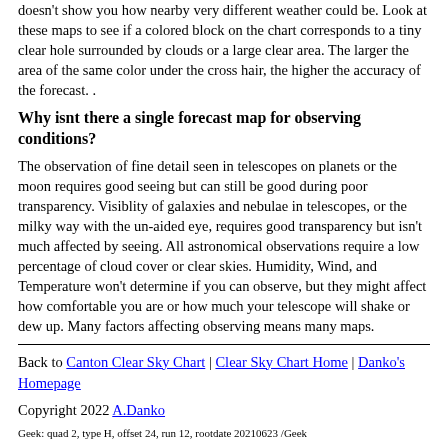doesn't show you how nearby very different weather could be. Look at these maps to see if a colored block on the chart corresponds to a tiny clear hole surrounded by clouds or a large clear area. The larger the area of the same color under the cross hair, the higher the accuracy of the forecast. .
Why isnt there a single forecast map for observing conditions?
The observation of fine detail seen in telescopes on planets or the moon requires good seeing but can still be good during poor transparency. Visiblity of galaxies and nebulae in telescopes, or the milky way with the un-aided eye, requires good transparency but isn't much affected by seeing. All astronomical observations require a low percentage of cloud cover or clear skies. Humidity, Wind, and Temperature won't determine if you can observe, but they might affect how comfortable you are or how much your telescope will shake or dew up. Many factors affecting observing means many maps.
Back to Canton Clear Sky Chart | Clear Sky Chart Home | Danko's Homepage
Copyright 2022 A.Danko
Geek: quad 2, type H, offset 24, run 12, rootdate 20210623 /Geek